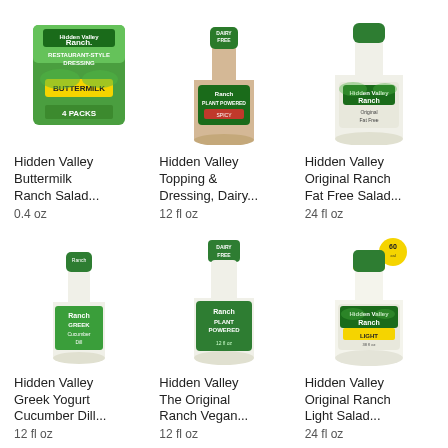[Figure (photo): Hidden Valley Buttermilk Ranch Salad Dressing box, 4 packs, restaurant-style, green box with yellow buttermilk label]
Hidden Valley Buttermilk Ranch Salad...
0.4 oz
[Figure (photo): Hidden Valley Topping & Dressing, Dairy Free bottle, Plant Powered, beige bottle with green cap]
Hidden Valley Topping & Dressing, Dairy...
12 fl oz
[Figure (photo): Hidden Valley Original Ranch Fat Free Salad Dressing bottle, white bottle with green cap]
Hidden Valley Original Ranch Fat Free Salad...
24 fl oz
[Figure (photo): Hidden Valley Greek Yogurt Cucumber Dill Ranch dressing bottle, smaller green bottle]
Hidden Valley Greek Yogurt Cucumber Dill...
12 fl oz
[Figure (photo): Hidden Valley The Original Ranch Vegan Plant Powered bottle, white bottle with green label, Dairy Free badge]
Hidden Valley The Original Ranch Vegan...
12 fl oz
[Figure (photo): Hidden Valley Original Ranch Light Salad Dressing bottle, white bottle with green and yellow label, 60 cal badge]
Hidden Valley Original Ranch Light Salad...
24 fl oz